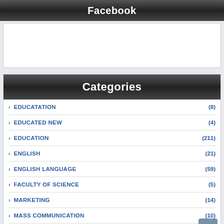Facebook
› EDUCATATION (8)
› EDUCATED NEW (4)
› EDUCATION (211)
› ENGLISH (21)
› ENGLISH LANGUAGE (59)
› FACULTY OF SCIENCE (5)
› MARKETING (14)
› MASS COMMUNICATION (10)
› MATHEMATICS (34)